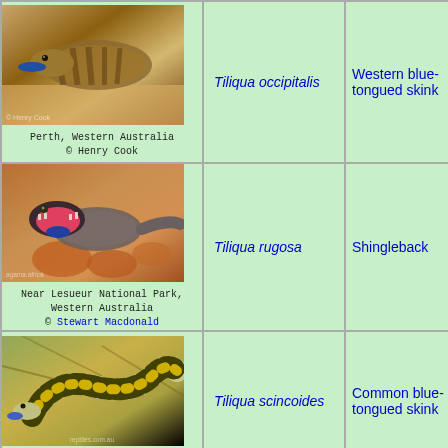[Figure (photo): Blue-tongued skink showing blue tongue, Perth Western Australia, photo by Henry Cook]
Perth, Western Australia
© Henry Cook
Tiliqua occipitalis
Western blue-tongued skink
[Figure (photo): Shingleback lizard with open mouth showing blue tongue, Near Lesueur National Park Western Australia, photo by Stewart Macdonald]
Near Lesueur National Park, Western Australia
© Stewart Macdonald
Tiliqua rugosa
Shingleback
[Figure (photo): Common blue-tongued skink, Lonan City Queensland]
Lonan City, Queensland
Tiliqua scincoides
Common blue-tongued skink